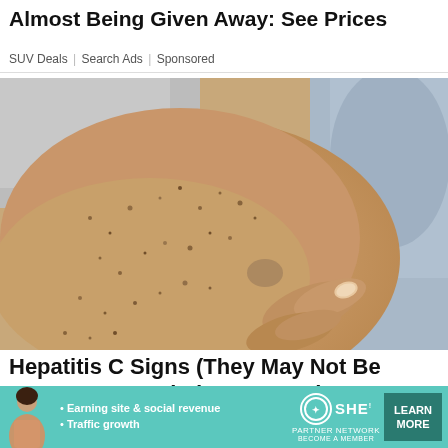Almost Being Given Away: See Prices
SUV Deals | Search Ads | Sponsored
[Figure (photo): Close-up photo of an arm/leg with skin spots being pointed at by a finger, illustrating hepatitis C skin signs]
Hepatitis C Signs (They May Not Be Common Knowledge To Most)
Hep C | Search Ads | Sponsored
[Figure (infographic): Advertisement banner for SHE Partner Network with text: Earning site & social revenue, Traffic growth. LEARN MORE button.]